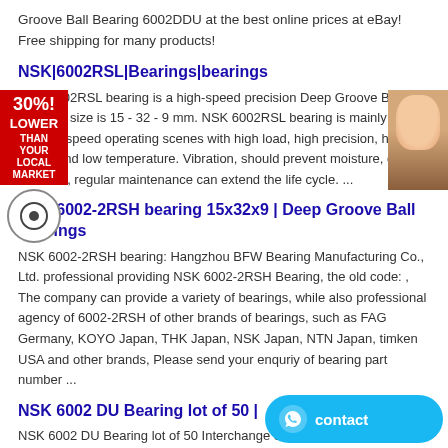Groove Ball Bearing 6002DDU at the best online prices at eBay! Free shipping for many products!
NSK|6002RSL|Bearings|bearings
NSK 6002RSL bearing is a high-speed precision Deep Groove Ball Bearing. size is 15 - 32 - 9 mm. NSK 6002RSL bearing is mainly used for high-speed operating scenes with high load, high precision, high speed and low temperature. Vibration, should prevent moisture, dirt intrusion, regular maintenance can extend the life cycle. ...
NSK 6002-2RSH bearing 15x32x9 | Deep Groove Ball Bearings
NSK 6002-2RSH bearing: Hangzhou BFW Bearing Manufacturing Co., Ltd. professional providing NSK 6002-2RSH Bearing, the old code: , The company can provide a variety of bearings, while also professional agency of 6002-2RSH of other brands of bearings, such as FAG Germany, KOYO Japan, THK Japan, NSK Japan, NTN Japan, timken USA and other brands, Please send your enquriy of bearing part number ...
NSK 6002 DU Bearing lot of 50 |
NSK 6002 DU Bearing lot of 50 Interchange Search. 21312EK SKF Calculation factor (Y1) 3 60x130x31mm Spherical roller bearings. 21312 Calculation factor (Y1) 3 60x130x31mm Spherical roller bearingsBearing number21312EKSize (mm)60x130x31BrandSKFBore Diameter (mm)60Outer